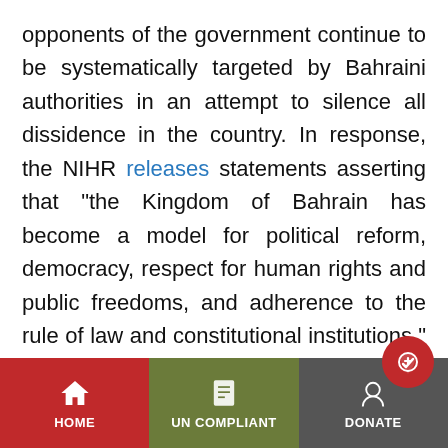opponents of the government continue to be systematically targeted by Bahraini authorities in an attempt to silence all dissidence in the country. In response, the NIHR releases statements asserting that "the Kingdom of Bahrain has become a model for political reform, democracy, respect for human rights and public freedoms, and adherence to the rule of law and constitutional institutions." Moreover, in December 2020, the NIHR claimed that "the Kingdom of Bahrain's interest in human rights and commitment to promoting and protecting them is genuine, constant and continuous."
HOME | UN COMPLIANT | DONATE